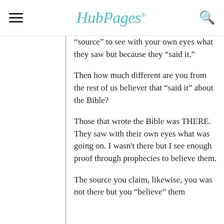HubPages
"source" to see with your own eyes what they saw but because they "said it."
Then how much different are you from the rest of us believer that "said it" about the Bible?
Those that wrote the Bible was THERE. They saw with their own eyes what was going on. I wasn't there but I see enough proof through prophecies to believe them.
The source you claim, likewise, you was not there but you "believe" them